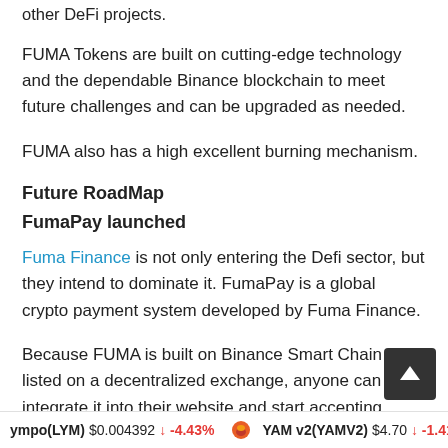other DeFi projects.
FUMA Tokens are built on cutting-edge technology and the dependable Binance blockchain to meet future challenges and can be upgraded as needed.
FUMA also has a high excellent burning mechanism.
Future RoadMap
FumaPay launched
Fuma Finance is not only entering the Defi sector, but they intend to dominate it. FumaPay is a global crypto payment system developed by Fuma Finance.
Because FUMA is built on Binance Smart Chain and listed on a decentralized exchange, anyone can integrate it into their website and start accepting online payments (PanCakeS…
ympo(LYM) $0.004392 ↓ -4.43%   YAM v2(YAMV2) $4.70 ↓ -1.41